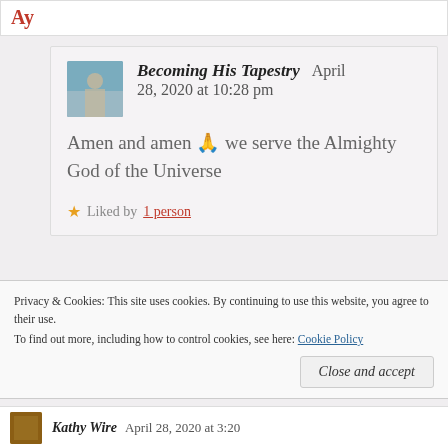Becoming His Tapestry   April 28, 2020 at 10:28 pm
Amen and amen 🙏 we serve the Almighty God of the Universe
Liked by 1 person
Privacy & Cookies: This site uses cookies. By continuing to use this website, you agree to their use. To find out more, including how to control cookies, see here: Cookie Policy
Close and accept
Kathy Wire   April 28, 2020 at 3:20